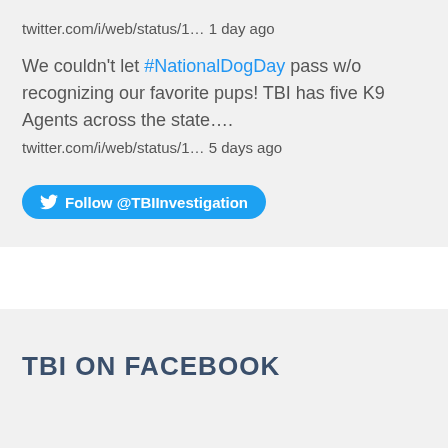twitter.com/i/web/status/1... 1 day ago
We couldn't let #NationalDogDay pass w/o recognizing our favorite pups! TBI has five K9 Agents across the state.... twitter.com/i/web/status/1... 5 days ago
[Figure (other): Follow @TBIInvestigation button with Twitter bird logo]
TBI ON FACEBOOK